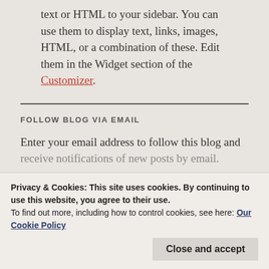text or HTML to your sidebar. You can use them to display text, links, images, HTML, or a combination of these. Edit them in the Widget section of the Customizer.
FOLLOW BLOG VIA EMAIL
Enter your email address to follow this blog and receive notifications of new posts by email.
Privacy & Cookies: This site uses cookies. By continuing to use this website, you agree to their use. To find out more, including how to control cookies, see here: Our Cookie Policy
Close and accept